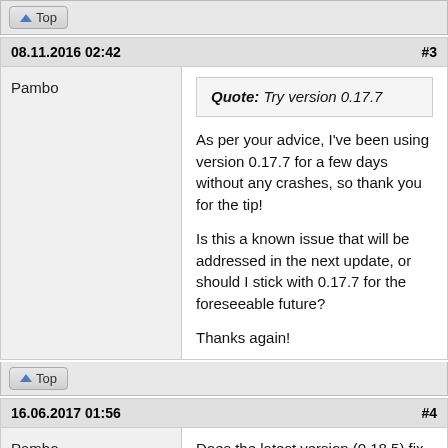Top
08.11.2016 02:42  #3
Pambo
Quote: Try version 0.17.7
As per your advice, I've been using version 0.17.7 for a few days without any crashes, so thank you for the tip!

Is this a known issue that will be addressed in the next update, or should I stick with 0.17.7 for the foreseeable future?

Thanks again!
Top
16.06.2017 01:56  #4
Pambo
Does the latest version (0.18.5) fix this issue, or should I stick with 0.17.7?

Cheers!